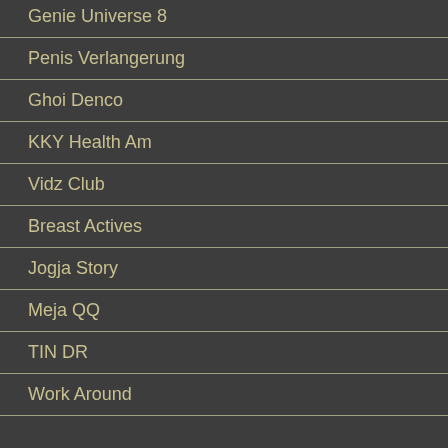Genie Universe 8
Penis Verlangerung
Ghoi Denco
KKY Health Am
Vidz Club
Breast Actives
Jogja Story
Meja QQ
TIN DR
Work Around